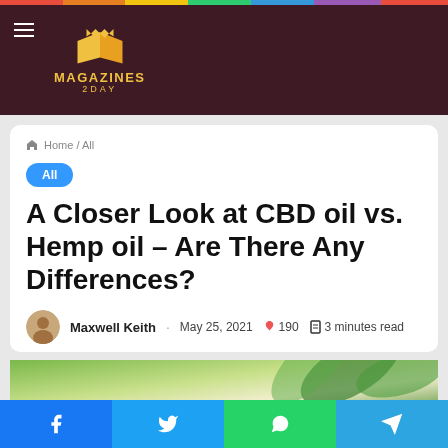Magazines2Day
Home / All
All
A Closer Look at CBD oil vs. Hemp oil – Are There Any Differences?
Maxwell Keith · May 25, 2021 🔥 190 📋 3 minutes read
[Figure (photo): Green hemp leaves background photo, partially cropped at bottom of card]
Social share bar: Facebook, Twitter, WhatsApp, Telegram